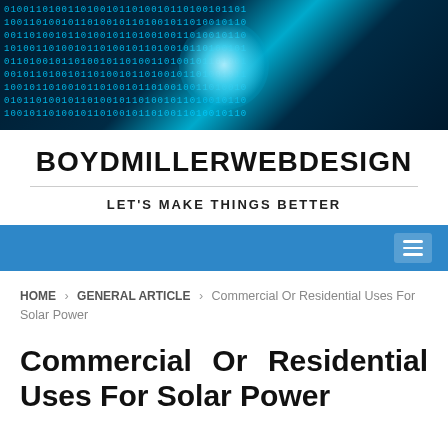[Figure (photo): Header banner image showing a tunnel of blue binary code (zeros and ones) on a dark background with a bright cyan glowing light in the center]
BOYDMILLERWEBDESIGN
LET'S MAKE THINGS BETTER
Navigation bar with hamburger menu icon
HOME > GENERAL ARTICLE > Commercial Or Residential Uses For Solar Power
Commercial Or Residential Uses For Solar Power